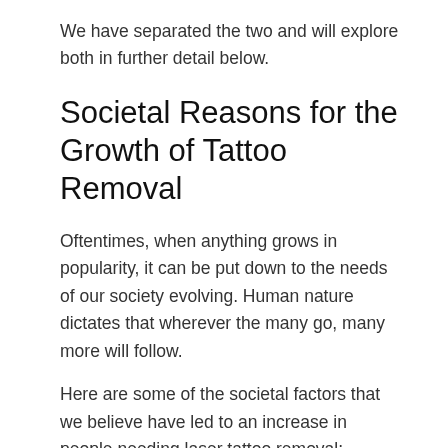We have separated the two and will explore both in further detail below.
Societal Reasons for the Growth of Tattoo Removal
Oftentimes, when anything grows in popularity, it can be put down to the needs of our society evolving. Human nature dictates that wherever the many go, many more will follow.
Here are some of the societal factors that we believe have led to an increase in people needing laser tattoo removal:
An Increase in Tattoos Overall – This is quite an obvious reason for the popularity growth of tattoo removals. Without tattoos,